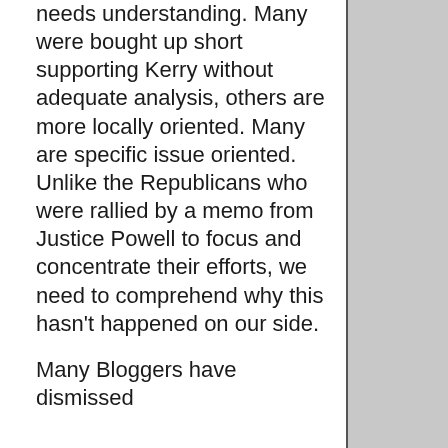needs understanding. Many were bought up short supporting Kerry without adequate analysis, others are more locally oriented. Many are specific issue oriented. Unlike the Republicans who were rallied by a memo from Justice Powell to focus and concentrate their efforts, we need to comprehend why this hasn't happened on our side.
Many Bloggers have dismissed